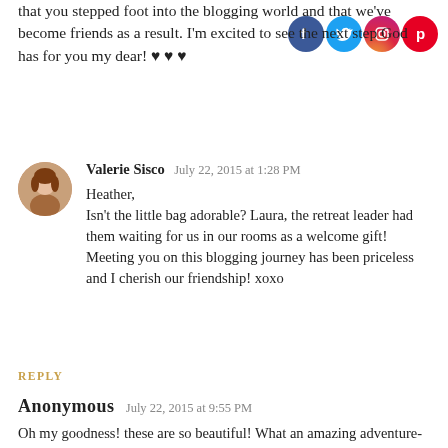that you stepped foot into the blogging world and that we've become friends as a result. I'm excited to see the next step God has for you my dear! ♥ ♥ ♥
Valerie Sisco  July 22, 2015 at 1:28 PM
Heather,
Isn't the little bag adorable? Laura, the retreat leader had them waiting for us in our rooms as a welcome gift! Meeting you on this blogging journey has been priceless and I cherish our friendship! xoxo
REPLY
Anonymous  July 22, 2015 at 9:55 PM
Oh my goodness! these are so beautiful! What an amazing adventure- It looks like the movies :)!!!! I am so glad it went well and that you met God there in all the details and His tender care for you. It is so neat how he cares for us so